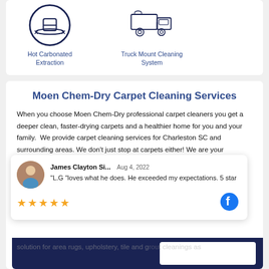[Figure (illustration): Icon of a hat (Hot Carbonated Extraction) in a circle with navy outline]
Hot Carbonated Extraction
[Figure (illustration): Icon of a truck (Truck Mount Cleaning System) in navy outline]
Truck Mount Cleaning System
Moen Chem-Dry Carpet Cleaning Services
When you choose Moen Chem-Dry professional carpet cleaners you get a deeper clean, faster-drying carpets and a healthier home for you and your family.  We provide carpet cleaning services for Charleston SC and surrounding areas. We don't just stop at carpets either! We are your complete solution for area rugs, upholstery, tile and grout cleanings as
Watch Us Clean the Most “Un-Cleanable” Carpet
James Clayton Si...  Aug 4, 2022
“L.G “loves what he does. He exceeded my expectations. 5 star
[Figure (other): Five gold star rating icons and Facebook icon in review popup]